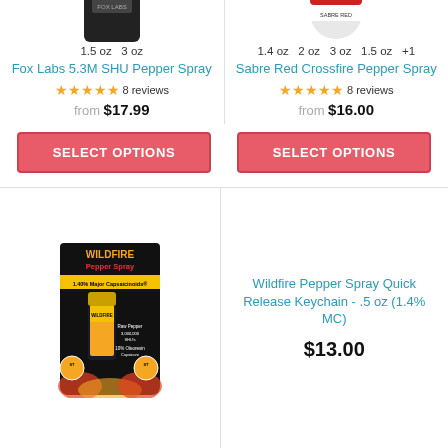1.5 oz  3 oz
Fox Labs 5.3M SHU Pepper Spray
★★★★★ 8 reviews
from $17.99
1.4 oz  2 oz  3 oz  1.5 oz  +1
Sabre Red Crossfire Pepper Spray
★★★★★ 8 reviews
from $16.00
SELECT OPTIONS
SELECT OPTIONS
[Figure (photo): Wildfire Pepper Spray product in packaging — black canister with red flame label]
Wildfire Pepper Spray Quick Release Keychain - .5 oz (1.4% MC)
$13.00